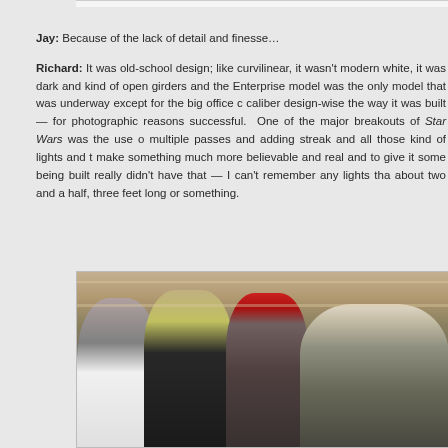Jay: Because of the lack of detail and finesse…
Richard: It was old-school design; like curvilinear, it wasn't modern white, it was dark and kind of open girders and the Enterprise model was the only model that was underway except for the big office caliber design-wise the way it was built — for photographic reasons successful. One of the major breakouts of Star Wars was the use of multiple passes and adding streak and all those kind of lights and to make something much more believable and real and to give it some being built really didn't have that — I can't remember any lights that about two and a half, three feet long or something.
[Figure (photo): A vintage color photograph showing four men standing together indoors, likely in a workshop or studio setting. From left to right: an older man with gray hair and a white shirt; a taller man with glasses and a dark jacket; a man wearing a red baseball cap and dark shirt with a beard; and a man with white/blond hair and glasses. The background shows a ceiling with beams and shelving.]